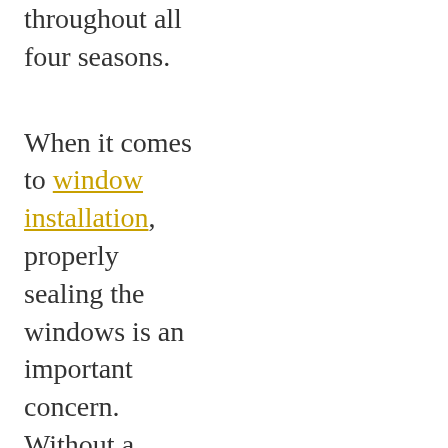throughout all four seasons.
When it comes to window installation, properly sealing the windows is an important concern. Without a weathertight seal a window won't be able to protect your home for the elements, so your installer must ensure a good seal. At